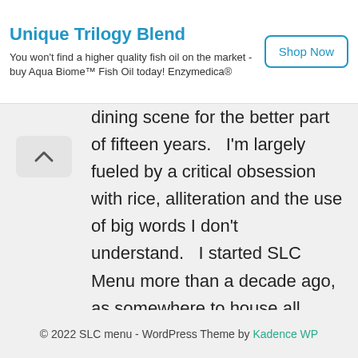[Figure (other): Advertisement banner for Unique Trilogy Blend fish oil by Enzymedica with Shop Now button]
dining scene for the better part of fifteen years.   I'm largely fueled by a critical obsession with rice, alliteration and the use of big words I don't understand.   I started SLC Menu more than a decade ago, as somewhere to house all those hard to find menus I picked up during my food writing travels.
© 2022 SLC menu - WordPress Theme by Kadence WP